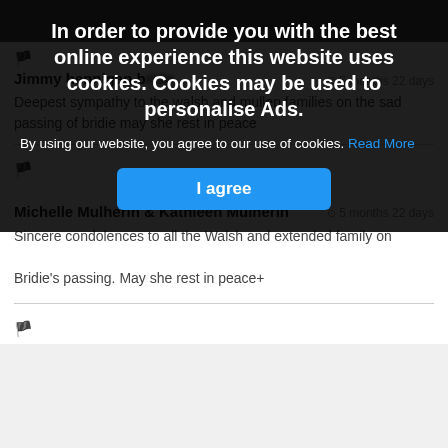[Figure (screenshot): Cookie consent overlay with dark semi-transparent background, bold white title, body text with blue 'Read More' link, and blue 'I agree' button]
Jimmy hennigan b…  ⊙ 5 months 22 days
Deepest sympathy to the walsh and mullen families on the sad passing of bridie may she rest in peace
🏴
Michelle Mulherin & Kathleen Mulherin  ⊙ 5 months 22 days
Sincere condolences to all the Walsh and extended family on Bridie's passing. May she rest in peace+
🏴